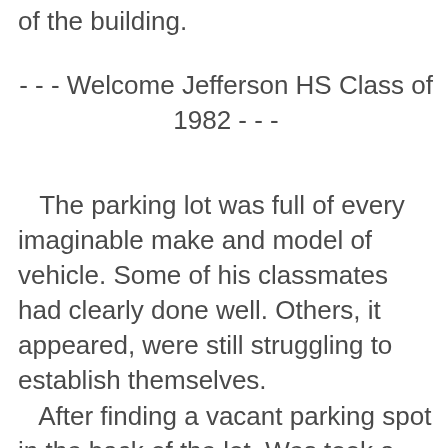of the building.
- - - Welcome Jefferson HS Class of 1982 - - -
The parking lot was full of every imaginable make and model of vehicle. Some of his classmates had clearly done well. Others, it appeared, were still struggling to establish themselves. After finding a vacant parking spot in the back of the lot, Wes took a deep breath and reflected for a moment before joining the party. This would be his first class reunion without Beth. He